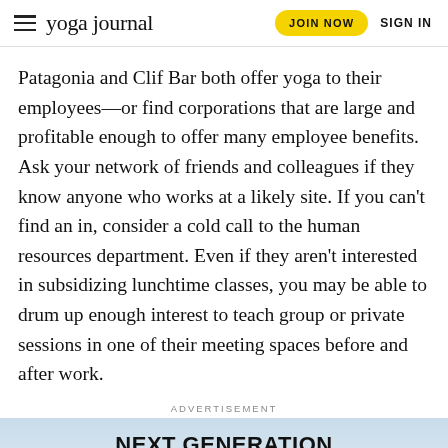yoga journal — JOIN NOW   SIGN IN
Patagonia and Clif Bar both offer yoga to their employees—or find corporations that are large and profitable enough to offer many employee benefits. Ask your network of friends and colleagues if they know anyone who works at a likely site. If you can't find an in, consider a cold call to the human resources department. Even if they aren't interested in subsidizing lunchtime classes, you may be able to drum up enough interest to teach group or private sessions in one of their meeting spaces before and after work.
[Figure (infographic): Advertisement for GMC Canyon truck. Top portion shows a scenic mountain landscape with sky background and bold text 'NEXT GENERATION GMC CANYON' with a red underline. Bottom portion shows the GMC logo in red metallic letters on a dark background with an 'x' close button.]